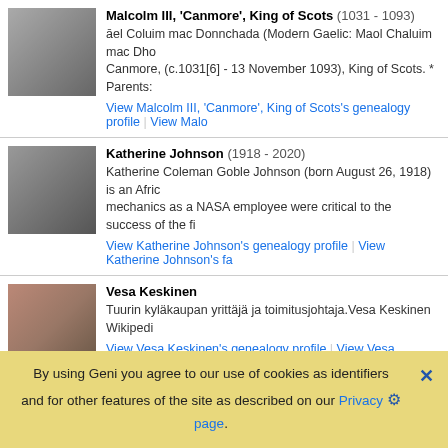Malcolm III, 'Canmore', King of Scots (1031 - 1093)
āel Coluim mac Donnchada (Modern Gaelic: Maol Chaluim mac Dho Canmore, (c.1031[6] - 13 November 1093), King of Scots. * Parents:
View Malcolm III, 'Canmore', King of Scots's genealogy profile | View Malo
Katherine Johnson (1918 - 2020)
Katherine Coleman Goble Johnson (born August 26, 1918) is an Afric mechanics as a NASA employee were critical to the success of the fi
View Katherine Johnson's genealogy profile | View Katherine Johnson's fa
Vesa Keskinen
Tuurin kyläkaupan yrittäjä ja toimitusjohtaja.Vesa Keskinen Wikipedi
View Vesa Keskinen's genealogy profile | View Vesa Keskinen's family tre
Harald I "Fairhair", king of Norway (c.850 - c.932)
Free audio book link of the book EARLY KINGS OF NORWAY I "Fair province of Vestfold was the starting point of Harald Finehair's unifica
By using Geni you agree to our use of cookies as identifiers and for other features of the site as described on our Privacy page.